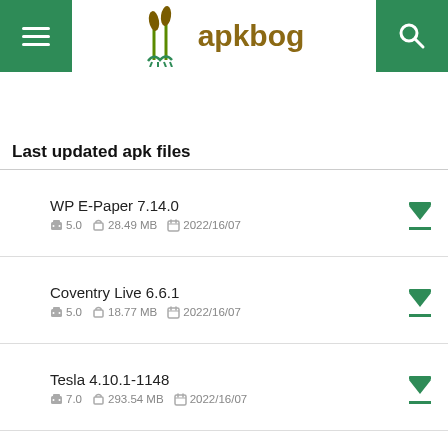apkbog
Last updated apk files
WP E-Paper 7.14.0  5.0  28.49 MB  2022/16/07
Coventry Live 6.6.1  5.0  18.77 MB  2022/16/07
Tesla 4.10.1-1148  7.0  293.54 MB  2022/16/07